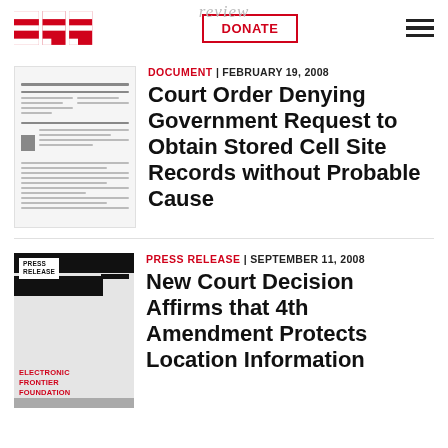EFF | DONATE | review
[Figure (screenshot): Thumbnail of a court document with lines of text and a dark block on the left side]
DOCUMENT | FEBRUARY 19, 2008
Court Order Denying Government Request to Obtain Stored Cell Site Records without Probable Cause
[Figure (logo): EFF Press Release logo: black bars with PRESS RELEASE label and Electronic Frontier Foundation text in red]
PRESS RELEASE | SEPTEMBER 11, 2008
New Court Decision Affirms that 4th Amendment Protects Location Information